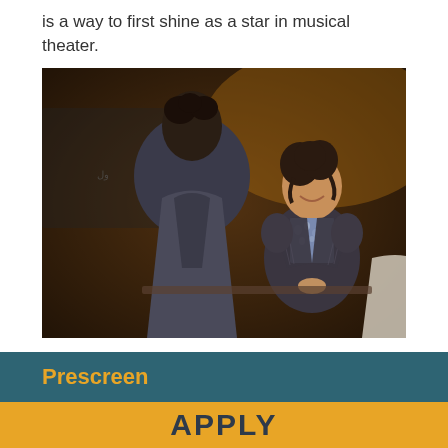is a way to first shine as a star in musical theater.
[Figure (photo): Two performers on a theater stage — one seen from behind in a grey suit, and one facing the camera in a period costume with a floral blouse and pinstripe jacket, smiling.]
Prescreen
APPLY